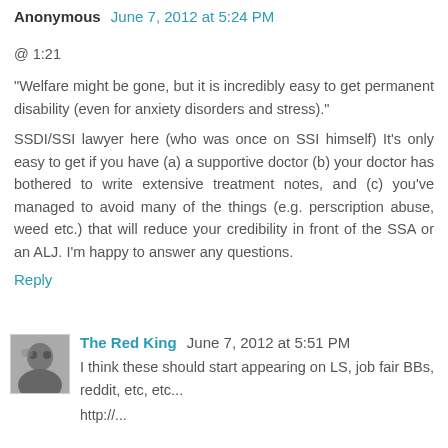Anonymous June 7, 2012 at 5:24 PM
@ 1:21
"Welfare might be gone, but it is incredibly easy to get permanent disability (even for anxiety disorders and stress)."
SSDI/SSI lawyer here (who was once on SSI himself) It's only easy to get if you have (a) a supportive doctor (b) your doctor has bothered to write extensive treatment notes, and (c) you've managed to avoid many of the things (e.g. perscription abuse, weed etc.) that will reduce your credibility in front of the SSA or an ALJ. I'm happy to answer any questions.
Reply
The Red King June 7, 2012 at 5:51 PM
I think these should start appearing on LS, job fair BBs, reddit, etc, etc...
http://...